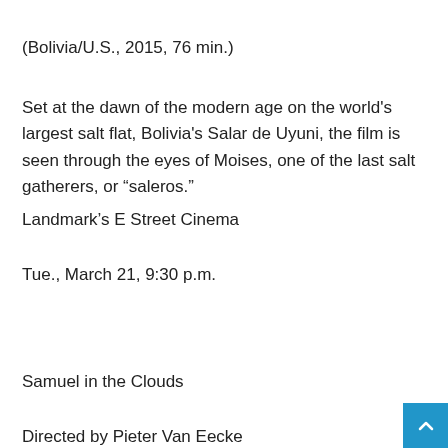(Bolivia/U.S., 2015, 76 min.)
Set at the dawn of the modern age on the world's largest salt flat, Bolivia's Salar de Uyuni, the film is seen through the eyes of Moises, one of the last salt gatherers, or “saleros.”
Landmark’s E Street Cinema
Tue., March 21, 9:30 p.m.
Samuel in the Clouds
Directed by Pieter Van Eecke